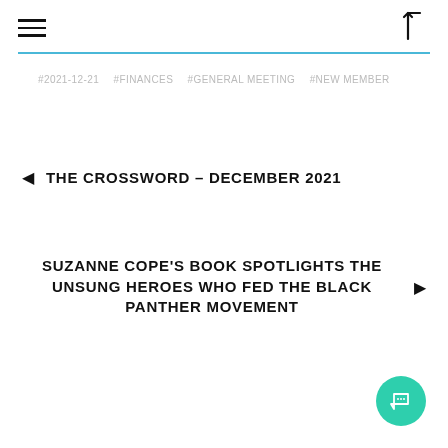≡  [←
#2021-12-21  #FINANCES  #GENERAL MEETING  #NEW MEMBER
◄  THE CROSSWORD – DECEMBER 2021
SUZANNE COPE'S BOOK SPOTLIGHTS THE UNSUNG HEROES WHO FED THE BLACK PANTHER MOVEMENT  ►